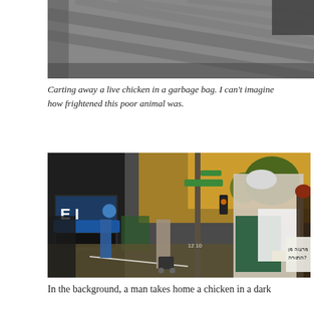[Figure (photo): Partial photo showing a textured pavement/rooftop surface with diagonal lines, dark tones, cropped at top of page]
Carting away a live chicken in a garbage bag. I can't imagine how frightened this poor animal was.
[Figure (photo): Street scene at dusk showing protesters and pedestrians on a commercial street. In the foreground, a white-haired woman with a green bag holds papers; a red-haired woman stands beside her holding a sign with Hebrew text. In the background, a man with a rolling cart walks down the sidewalk past storefronts including one with 'EI' signage and a blue awning. Street signs and trees are visible.]
In the background, a man takes home a chicken in a dark